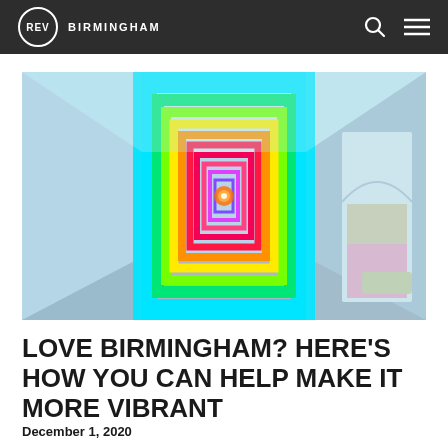REV BIRMINGHAM
[Figure (photo): A colorful illuminated tunnel corridor with rainbow neon lights framing the archway, receding into the distance, with an arched doorway visible on the right side.]
LOVE BIRMINGHAM? HERE'S HOW YOU CAN HELP MAKE IT MORE VIBRANT
December 1, 2020